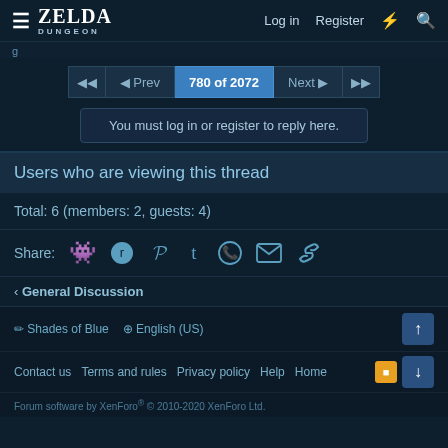ZELDA DUNGEON — Log in  Register
780 of 2072
You must log in or register to reply here.
Users who are viewing this thread
Total: 6 (members: 2, guests: 4)
Share:
< General Discussion
Shades of Blue  English (US)  Contact us  Terms and rules  Privacy policy  Help  Home  Forum software by XenForo® © 2010-2020 XenForo Ltd.